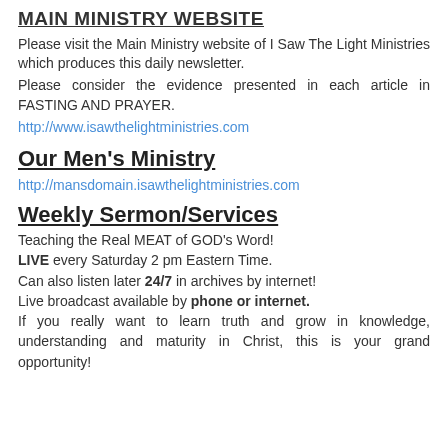MAIN MINISTRY WEBSITE
Please visit the Main Ministry website of I Saw The Light Ministries which produces this daily newsletter.
Please consider the evidence presented in each article in FASTING AND PRAYER.
http://www.isawthelightministries.com
Our Men's Ministry
http://mansdomain.isawthelightministries.com
Weekly Sermon/Services
Teaching the Real MEAT of GOD's Word!
LIVE every Saturday 2 pm Eastern Time.
Can also listen later 24/7 in archives by internet!
Live broadcast available by phone or internet.
If you really want to learn truth and grow in knowledge, understanding and maturity in Christ, this is your grand opportunity!